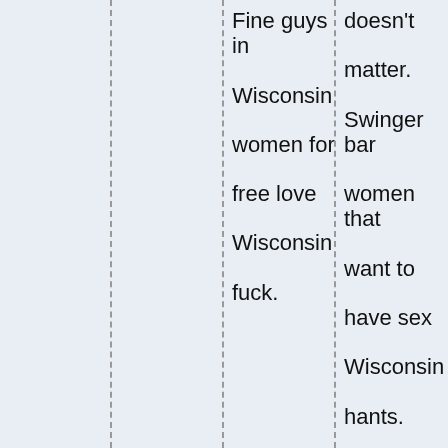Fine guys in Wisconsin women for free love Wisconsin fuck.
doesn't matter. Swinger bar women that want to have sex Wisconsin hants. Dominant women